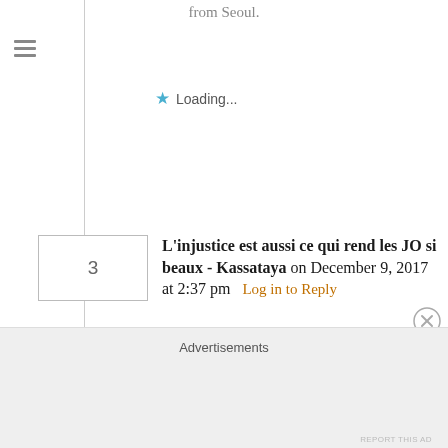from Seoul.
★ Loading...
3
L'injustice est aussi ce qui rend les JO si beaux - Kassataya on December 9, 2017 at 2:37 pm Log in to Reply
[...] Jr aurait dû être sacré champion olympique, mais c'est le Coréen Park Si-hun qui, sur ses terres de Séoul, avait emporté la décision à la [...]
★ Loading...
Advertisements